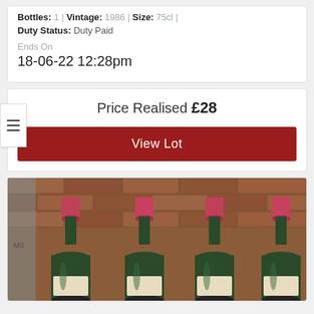Bottles: 1 | Vintage: 1986 | Size: 75cl |
Duty Status: Duty Paid
Ends On
18-06-22 12:28pm
Price Realised £28
View Lot
[Figure (photo): Four wine bottles with pink/red foil caps and dark green glass, arranged side by side in front of a brick wall background]